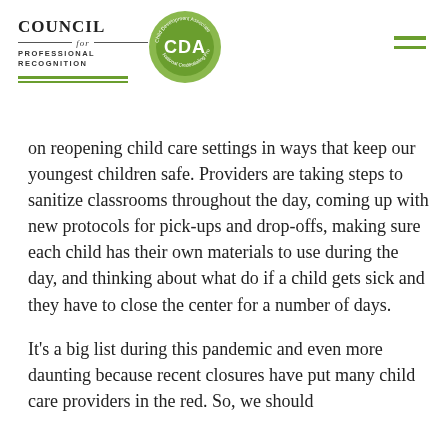Council for Professional Recognition | CDA
on reopening child care settings in ways that keep our youngest children safe. Providers are taking steps to sanitize classrooms throughout the day, coming up with new protocols for pick-ups and drop-offs, making sure each child has their own materials to use during the day, and thinking about what do if a child gets sick and they have to close the center for a number of days.
It’s a big list during this pandemic and even more daunting because recent closures have put many child care providers in the red. So, we should